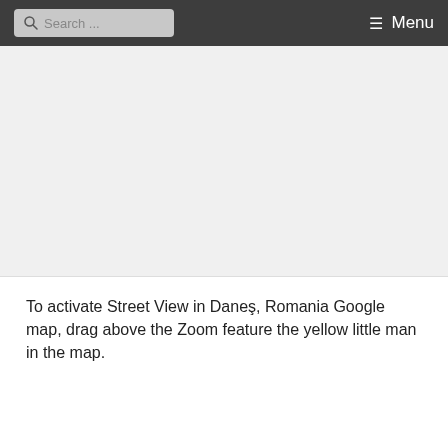Search ... Menu
[Figure (map): Embedded Google Map area for Danes, Romania showing Street View]
To activate Street View in Danes, Romania Google map, drag above the Zoom feature the yellow little man in the map.